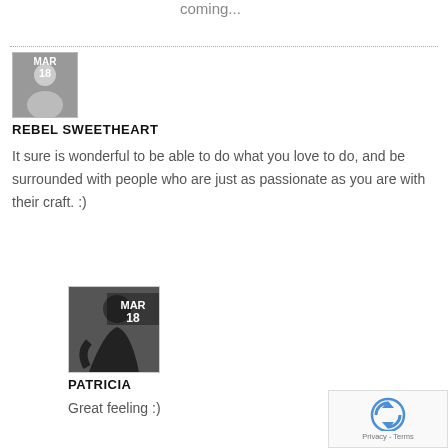coming...
[Figure (illustration): User avatar placeholder with MAR 18 date badge, gray silhouette]
REBEL SWEETHEART
It sure is wonderful to be able to do what you love to do, and be surrounded with people who are just as passionate as you are with their craft. :)
[Figure (photo): Profile photo of Patricia with MAR 18 date badge overlay]
PATRICIA
Great feeling :)